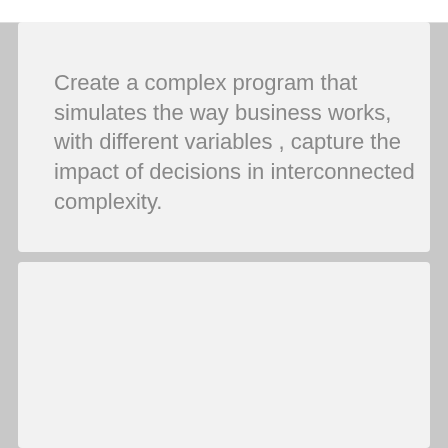Create a complex program that simulates the way business works, with different variables , capture the impact of decisions in interconnected complexity.
Use Case
# Simulate business parts or whole business process.